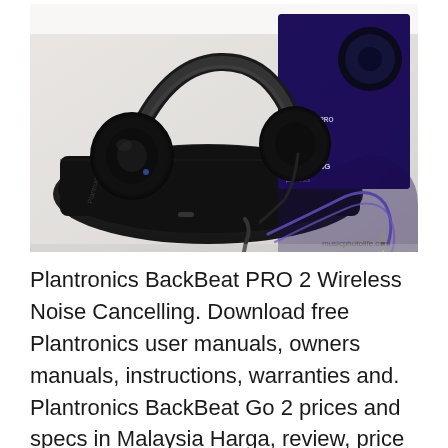[Figure (photo): Plantronics BackBeat PRO 2 wireless noise cancelling headphones laid on a black soft case, with purple/black audio cables and the product box in the background. Watermark reads 'musicphotolife.com'.]
Plantronics BackBeat PRO 2 Wireless Noise Cancelling. Download free Plantronics user manuals, owners manuals, instructions, warranties and. Plantronics BackBeat Go 2 prices and specs in Malaysia Harga, review, price comparison, specifications September, 2018